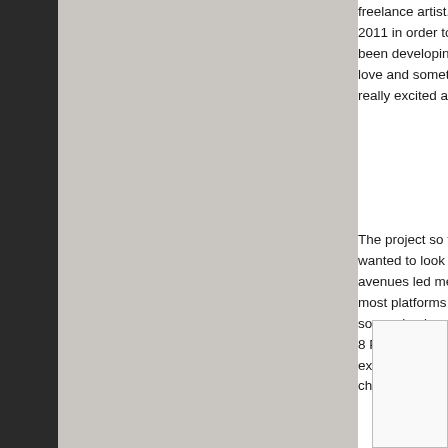freelance artist. I previously worked for a games co 2011 in order to follow my own path. In between co been developing the project from it's early concept love and something I had been wanting to pursue f really excited about and something that I felt hadn'
The project so far has been developed from scratc wanted to look into supporting as many platforms a avenues led me down a path of using MonoGame most platforms covered in some way. MonoGame i source implementation of the XNA which adds sup 8 Phone, Windows 8 App Store, Linux, OUYA and existing support for Windows 7 Phone, Xbox 360 a choice.
[Figure (other): White rectangular image placeholder box with light border]